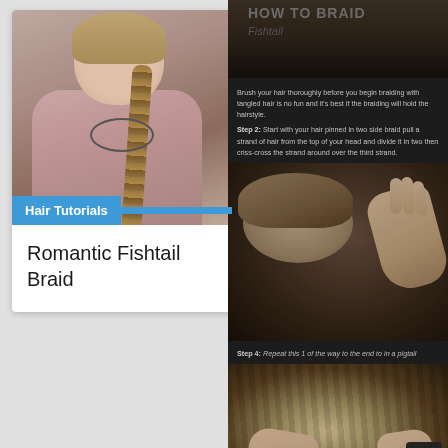[Figure (photo): Woman with long fishtail braid wearing pink blazer, photographed in a crowd]
Hair Tutorials
Romantic Fishtail Braid
[Figure (photo): Top portion of right column showing a dark background image from a hairstyling tutorial]
Brush your hair thoroughly before you begin braiding with tangled hair is no fun and it's best if the braiding will hold the hairstyle. Step 2: Start with your hair pinned in two side braid pull a strand of hair from the top of your head and divide it in two then criss-cross the strand around over the third strand.
[Figure (photo): Close-up photo of hands braiding dark hair in a fishtail technique]
Step 4: Repeat this 1 of the way to the end to in a pigtail
[Figure (photo): Close-up photo of a finished fishtail braid on light-colored hair]